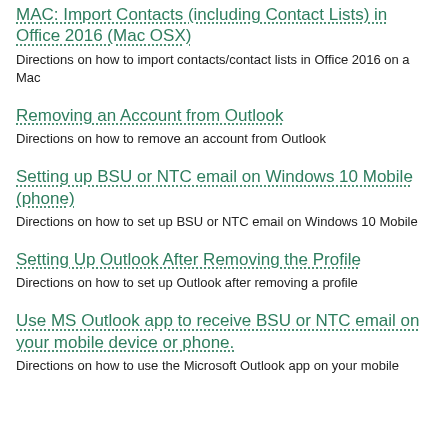MAC: Import Contacts (including Contact Lists) in Office 2016 (Mac OSX)
Directions on how to import contacts/contact lists in Office 2016 on a Mac
Removing an Account from Outlook
Directions on how to remove an account from Outlook
Setting up BSU or NTC email on Windows 10 Mobile (phone)
Directions on how to set up BSU or NTC email on Windows 10 Mobile
Setting Up Outlook After Removing the Profile
Directions on how to set up Outlook after removing a profile
Use MS Outlook app to receive BSU or NTC email on your mobile device or phone.
Directions on how to use the Microsoft Outlook app on your mobile